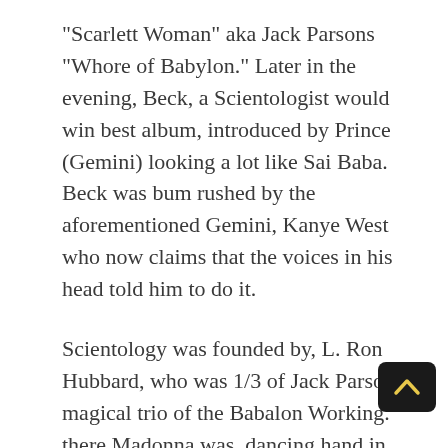“Scarlett Woman” aka Jack Parsons “Whore of Babylon.” Later in the evening, Beck, a Scientologist would win best album, introduced by Prince (Gemini) looking a lot like Sai Baba. Beck was bum rushed by the aforementioned Gemini, Kanye West who now claims that the voices in his head told him to do it.
Scientology was founded by, L. Ron Hubbard, who was 1/3 of Jack Parson’s magical trio of the Babalon Working. there Madonna was, dancing hand in